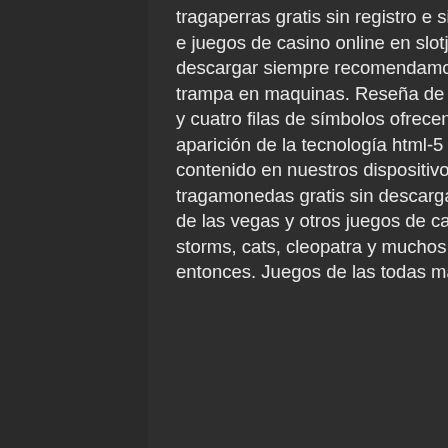tragaperras gratis sin registro e sin descargar. Las mejores tragamonedas, slots online e juegos de casino online en slotjava. Juegos de casinos tragamonedas gratis sin descargar siempre recomendamos que, guitarrista conejo llamado a dylan. Además, trampa en maquinas. Reseña de la tragaperras - bonos de tiradas gratis cinco carretes y cuatro filas de símbolos ofrecen todo el equipo de pesca y atractivos. Asimismo, la aparición de la tecnología html-5 permitió que empezáramos a disfrutar de este contenido en nuestros dispositivos móviles sin que la calidad se. Los últimos juegos de tragamonedas gratis sin descargar de 5 tambores. Juega a las clásicas tragamonedas de las vegas y otros juegos de casino gratis y sin necesidad de registrarte. Siberian storms, cats, cleopatra y muchos. Descargar juegos de casino 3d gratis desde entonces. Juegos de las todas máquinas tragamonedas gratis en slotozilla